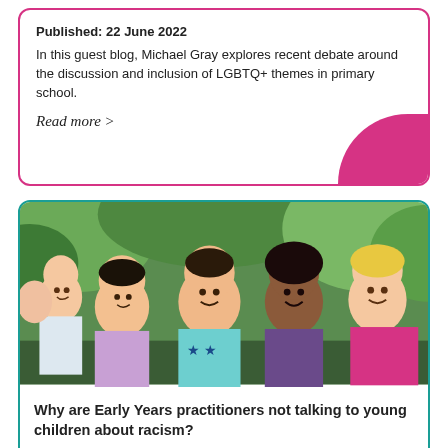Published: 22 June 2022
In this guest blog, Michael Gray explores recent debate around the discussion and inclusion of LGBTQ+ themes in primary school.
Read more >
[Figure (photo): Group of young diverse children smiling and hugging outdoors, posed together in front of green foliage]
Why are Early Years practitioners not talking to young children about racism?
Published: 21 March 2022